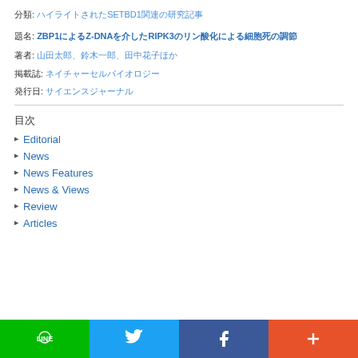分類: ハイライトされたSETBD1関連の研究記事
題名: ZBP1によるZ-DNAを介したRIPK3のリン酸化による細胞死の調節
著者: 山田太郎、鈴木一郎、田中花子ほか
掲載誌: ネイチャーセルバイオロジー
発行日: サイエンスジャーナル
目次
Editorial
News
News Features
News & Views
Review
Articles